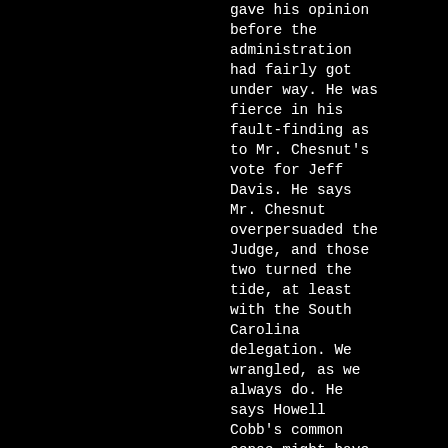gave his opinion before the administration had fairly got under way. He was fierce in his fault-finding as to Mr. Chesnut's vote for Jeff Davis. He says Mr. Chesnut overpersuaded the Judge, and those two turned the tide, at least with the South Carolina delegation. We wrangled, as we always do. He says Howell Cobb's common sense might have saved us.

Two quiet, unobtrusive Yankee school-